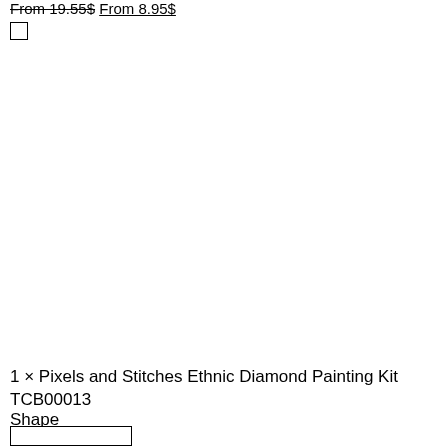From 19.55$ From 8.95$
☐
1 × Pixels and Stitches Ethnic Diamond Painting Kit TCB00013
Shape